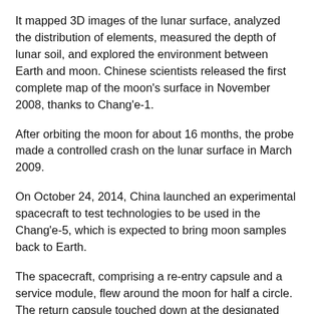It mapped 3D images of the lunar surface, analyzed the distribution of elements, measured the depth of lunar soil, and explored the environment between Earth and moon. Chinese scientists released the first complete map of the moon's surface in November 2008, thanks to Chang'e-1.
After orbiting the moon for about 16 months, the probe made a controlled crash on the lunar surface in March 2009.
On October 24, 2014, China launched an experimental spacecraft to test technologies to be used in the Chang'e-5, which is expected to bring moon samples back to Earth.
The spacecraft, comprising a re-entry capsule and a service module, flew around the moon for half a circle. The return capsule touched down at the designated landing area in Siziwang Banner, north China's Inner Mongolia Autonomous Region, on November 1, 2014.